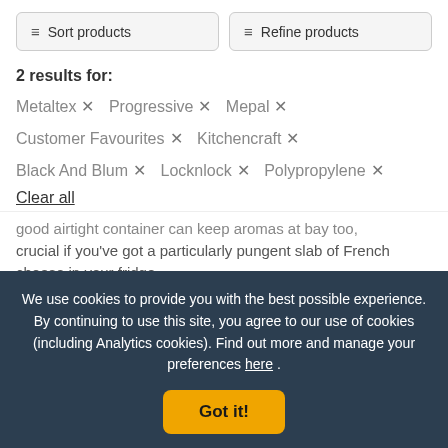≡ Sort products | ≡ Refine products
2 results for:
Metaltex ✕   Progressive ✕   Mepal ✕   Customer Favourites ✕   Kitchencraft ✕   Black And Blum ✕   Locknlock ✕   Polypropylene ✕
Clear all
good airtight container can keep aromas at bay too, crucial if you've got a particularly pungent slab of French cheese in your fridge.
We use cookies to provide you with the best possible experience. By continuing to use this site, you agree to our use of cookies (including Analytics cookies). Find out more and manage your preferences here .
Got it!